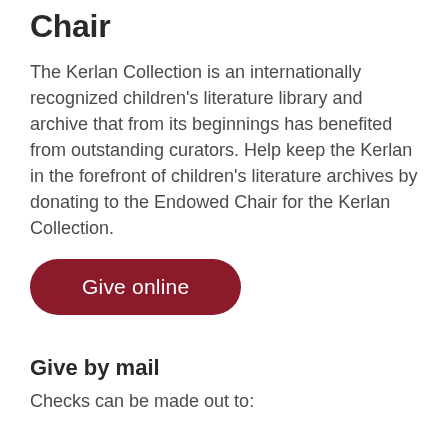Chair
The Kerlan Collection is an internationally recognized children’s literature library and archive that from its beginnings has benefited from outstanding curators. Help keep the Kerlan in the forefront of children’s literature archives by donating to the Endowed Chair for the Kerlan Collection.
Give online
Give by mail
Checks can be made out to: